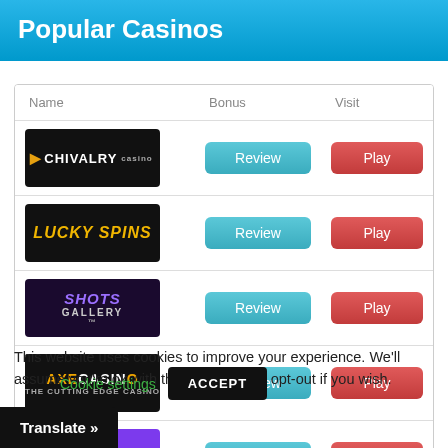Popular Casinos
| Name | Bonus | Visit |
| --- | --- | --- |
| [Chivalry Casino logo] | Review | Play |
| [Lucky Spins logo] | Review | Play |
| [Slots Gallery logo] | Review | Play |
| [Axe Casino logo] | Review | Play |
| [JustBit logo] | Review | Play |
This website uses cookies to improve your experience. We'll assume you're ok with this, but you can opt-out if you wish.
Cookie settings
ACCEPT
Translate »